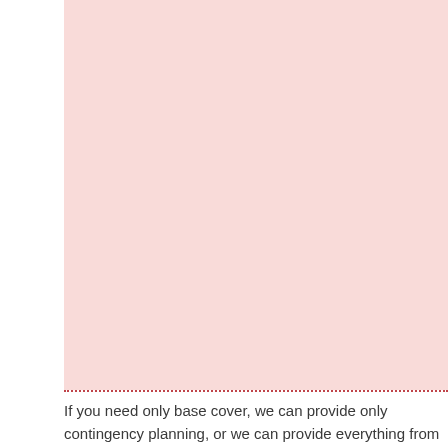[Figure (other): Large pink/light rose colored rectangular background block]
If you need only base cover, we can provide only contingency planning, or we can provide everything from base cover to